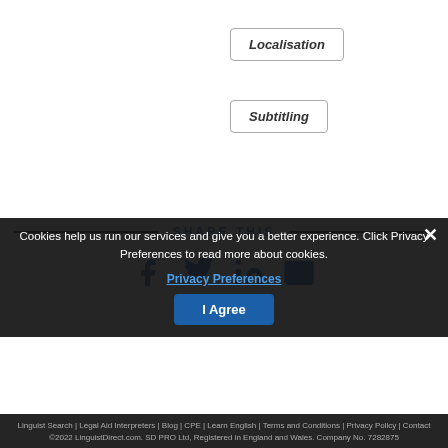Localisation
Subtitling
SHARE THIS
[Figure (infographic): Social share icons: Facebook, Twitter, LinkedIn, Email]
Cookies help us run our services and give you a better experience. Click Privacy Preferences to read more about cookies.
Privacy Preferences
I Agree
Linguist Search | Legal Aid Interpreters | Blog | CPE | Learn English | Terms and Conditions | Privacy Policy | Contact ©2022 LinguistDirect.com. SD PRO Ltd, Registered in England and Wales. Company No. 7282875